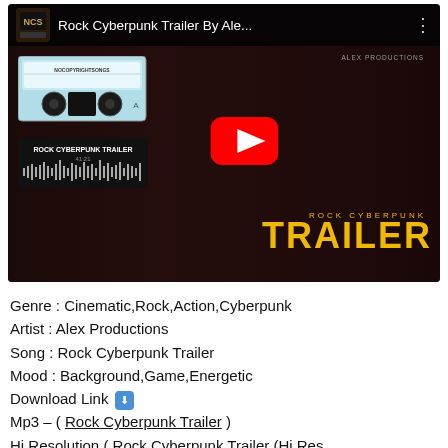[Figure (screenshot): YouTube video thumbnail for 'Rock Cyberpunk Trailer By Alex Productions' showing a boxer with red gloves and a cassette tape graphic with NOCOPYRIGHTSONGS label. Red YouTube play button in center. Gold text 'ROCK CYBERPUNK TRAILER' overlay.]
Genre : Cinematic,Rock,Action,Cyberpunk
Artist : Alex Productions
Song : Rock Cyberpunk Trailer
Mood : Background,Game,Energetic
Download Link 🔽
Mp3 – ( Rock Cyberpunk Trailer )
Hi Resolution ( Rock Cyberpunk Trailer (Hi Res...